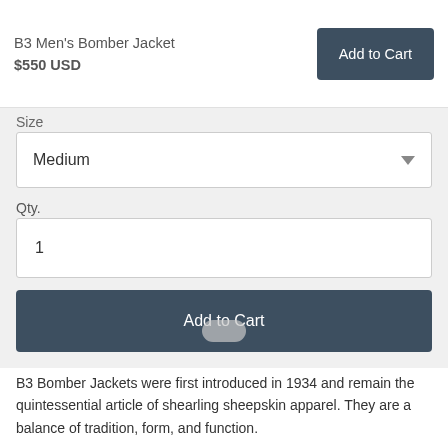B3 Men's Bomber Jacket
$550 USD
Add to Cart
Size
Medium
Qty.
1
Add to Cart
B3 Bomber Jackets were first introduced in 1934 and remain the quintessential article of shearling sheepskin apparel. They are a balance of tradition, form, and function.
Features:
• 100% Genuine Sheepskin